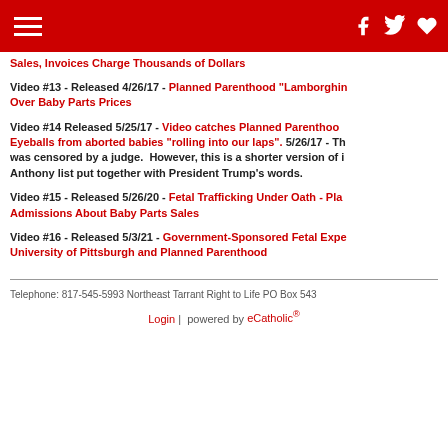Navigation header with hamburger menu and social icons (Facebook, Twitter, share)
Sales, Invoices Charge Thousands of Dollars
Video #13 - Released 4/26/17 - Planned Parenthood "Lamborghini" Over Baby Parts Prices
Video #14 Released 5/25/17 - Video catches Planned Parenthood Eyeballs from aborted babies "rolling into our laps". 5/26/17 - This was censored by a judge. However, this is a shorter version of it Anthony list put together with President Trump's words.
Video #15 - Released 5/26/20 - Fetal Trafficking Under Oath - Planned Parenthood Admissions About Baby Parts Sales
Video #16 - Released 5/3/21 - Government-Sponsored Fetal Experimentation at University of Pittsburgh and Planned Parenthood
Telephone: 817-545-5993 Northeast Tarrant Right to Life PO Box 543...
Login | powered by eCatholic®